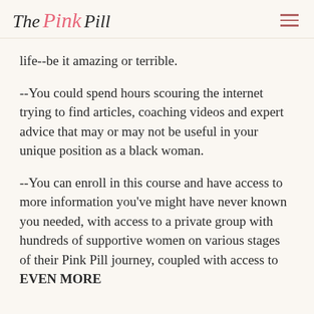The Pink Pill
life--be it amazing or terrible.
--You could spend hours scouring the internet trying to find articles, coaching videos and expert advice that may or may not be useful in your unique position as a black woman.
--You can enroll in this course and have access to more information you've might have never known you needed, with access to a private group with hundreds of supportive women on various stages of their Pink Pill journey, coupled with access to EVEN MORE